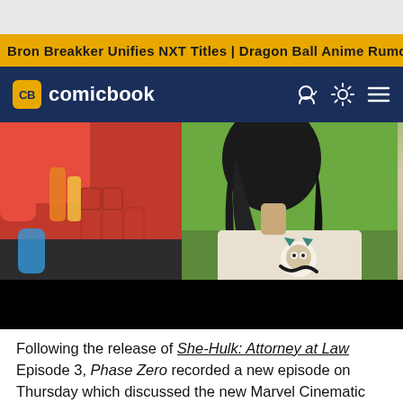Bron Breakker Unifies NXT Titles | Dragon Ball Anime Rumor
[Figure (logo): ComicBook.com logo with CB badge in yellow circle on navy navigation bar]
[Figure (photo): Split image: left side shows a grocery checkout scene with canned goods and beverages in red cart; right side shows a woman with long dark hair wearing a white shirt with a stylized cat design, green background]
Following the release of She-Hulk: Attorney at Law Episode 3, Phase Zero recorded a new episode on Thursday which discussed the new Marvel Cinematic